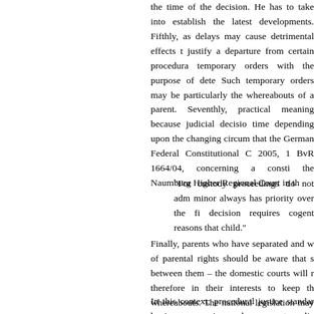the time of the decision. He has to take into account the latest circumstances to establish the latest developments. Fifthly, the judge should bear in mind that as delays may cause detrimental effects to the child, he may be empowered to justify a departure from certain procedural formalities and issue so-called temporary orders with the purpose of determining the status quo provisionally. Such temporary orders may be particularly relevant in cases of uncertainty of the whereabouts of a parent. Seventhly, res judicata only has a limited practical meaning because judicial decisions in this area may be revised at any time depending upon the changing circumstances and the best interest of the child, that the German Federal Constitutional Court accepted in its decision of 31 January 2005, 1 BvR 1664/04, concerning a constitutional complaint against a decision of the Naumburg Higher Regional Court in the following terms:
"For custody proceedings do not admit of res judicata. The welfare of the minor always has priority over the finality of decisions. Any change to a decision requires cogent reasons that are in the best interests of the child."
Finally, parents who have separated and who are engaged in a dispute over the exercise of parental rights should be aware that since domestic courts will maintain contact between them – the domestic courts will need to deal with the matter and it is therefore in their interests to keep the domestic courts informed of their whereabouts. The national legislation may impose obligations on the parties aimed at ensuring the speediness of proceedings concerning children.
In this context, procedural justice standards that apply in ordinary cases of disputes having a pecuniary value are not applicable to proceedings involving the interests of children. The Court's approach to procedural justice standards